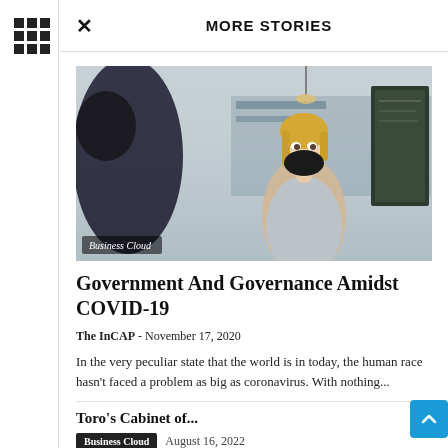× MORE STORIES
[Figure (photo): A woman with blonde hair wearing a black face mask and a light-colored apron in a café or restaurant setting. A dark-haired person is partially visible in the foreground. The image has a 'Business Cloud' label overlay at the bottom left.]
Government And Governance Amidst COVID-19
The InCAP  -  November 17, 2020
In the very peculiar state that the world is in today, the human race hasn't faced a problem as big as coronavirus. With nothing...
Toro's Cabinet of...
Business Cloud  August 16, 2022